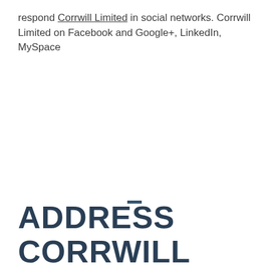respond Corrwill Limited in social networks. Corrwill Limited on Facebook and Google+, LinkedIn, MySpace
ADDRESS CORRWILL